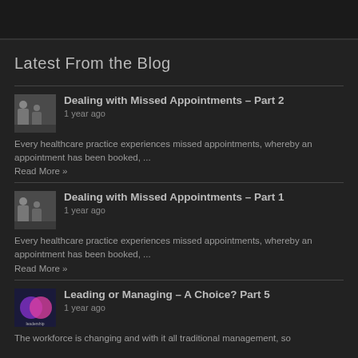Latest From the Blog
[Figure (photo): Thumbnail image of people sitting, waiting room scene]
Dealing with Missed Appointments – Part 2
1 year ago
Every healthcare practice experiences missed appointments, whereby an appointment has been booked, ...
Read More »
[Figure (photo): Thumbnail image of people sitting, waiting room scene]
Dealing with Missed Appointments – Part 1
1 year ago
Every healthcare practice experiences missed appointments, whereby an appointment has been booked, ...
Read More »
[Figure (illustration): Venn diagram with overlapping purple and pink/magenta circles]
Leading or Managing – A Choice? Part 5
1 year ago
The workforce is changing and with it all traditional management, so